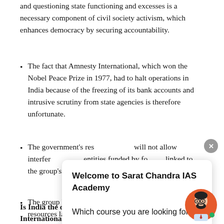and questioning state functioning and excesses is a necessary component of civil society activism, which enhances democracy by securing accountability.
The fact that Amnesty International, which won the Nobel Peace Prize in 1977, had to halt operations in India because of the freezing of its bank accounts and intrusive scrutiny from state agencies is therefore unfortunate.
The government's res... will not allow interfer... entities funded by fo... linked to the group's ... the abrogation of sp... 2019.
The group has maint... resources lawfully.
[Figure (infographic): A popup chat widget from Sarat Chandra IAS Academy with title 'Welcome to Sarat Chandra IAS Academy' and the question 'Which course you are looking for?' with a close button and an avatar illustration of a person with beard and glasses on an orange circle background.]
Is India the only country to stop operations of Amnesty International?